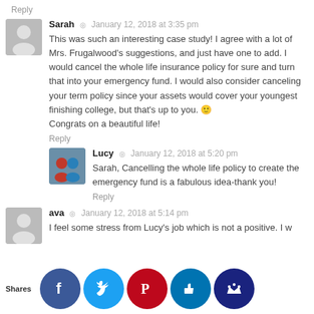Reply
Sarah · January 12, 2018 at 3:35 pm
This was such an interesting case study! I agree with a lot of Mrs. Frugalwood's suggestions, and just have one to add. I would cancel the whole life insurance policy for sure and turn that into your emergency fund. I would also consider canceling your term policy since your assets would cover your youngest finishing college, but that's up to you. 🙂 Congrats on a beautiful life!
Reply
Lucy · January 12, 2018 at 5:20 pm
Sarah, Cancelling the whole life policy to create the emergency fund is a fabulous idea-thank you!
Reply
ava · January 12, 2018 at 5:14 pm
I feel some stress from Lucy's job which is not a positive. I w... if she mi... able to... e positi... d beca... N... worki... Hospi... y. The... 's a lo...